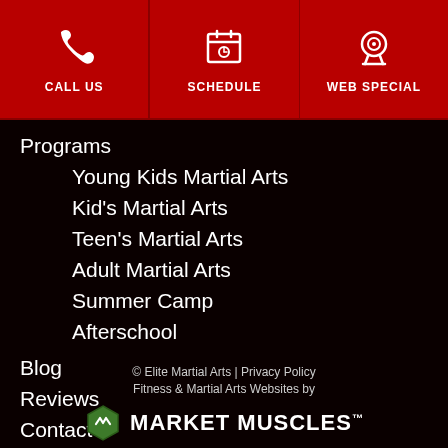CALL US | SCHEDULE | WEB SPECIAL
Programs
Young Kids Martial Arts
Kid's Martial Arts
Teen's Martial Arts
Adult Martial Arts
Summer Camp
Afterschool
Blog
Reviews
Contact
© Elite Martial Arts | Privacy Policy
Fitness & Martial Arts Websites by
MARKET MUSCLES™